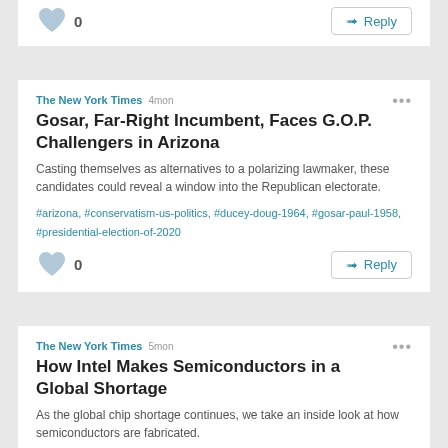Reply (top card partial)
The New York Times 4mon
Gosar, Far-Right Incumbent, Faces G.O.P. Challengers in Arizona
Casting themselves as alternatives to a polarizing lawmaker, these candidates could reveal a window into the Republican electorate.
#arizona, #conservatism-us-politics, #ducey-doug-1964, #gosar-paul-1958, #presidential-election-of-2020
0 Reply
The New York Times 5mon
How Intel Makes Semiconductors in a Global Shortage
As the global chip shortage continues, we take an inside look at how semiconductors are fabricated.
#arizona, #chandler-ariz, #computer-chips, #computers-and-the-internet, #coronavirus-2019-ncov, #factories-and-manufacturing, #gelsinger-patrick, #intel-corporation, #oregon, #taiwan-semiconductor-manufacturing-company-ltd, #united-states-politics-and-government
0 Reply